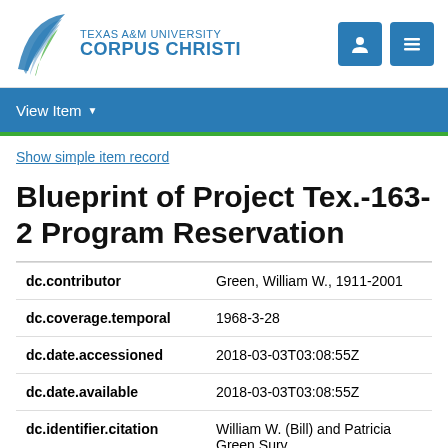[Figure (logo): Texas A&M University Corpus Christi logo with stylized bird/wing graphic and university name in blue text]
View Item
Show simple item record
Blueprint of Project Tex.-163-2 Program Reservation
| Field | Value |
| --- | --- |
| dc.contributor | Green, William W., 1911-2001 |
| dc.coverage.temporal | 1968-3-28 |
| dc.date.accessioned | 2018-03-03T03:08:55Z |
| dc.date.available | 2018-03-03T03:08:55Z |
| dc.identifier.citation | William W. (Bill) and Patricia Green Surv |